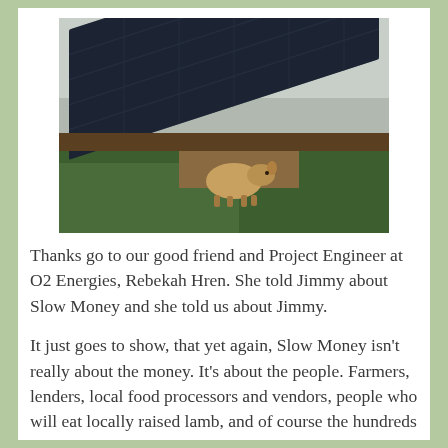[Figure (photo): A sheep or lamb on grass in front of a large array of solar panels tilted at an angle, under an overcast sky.]
Thanks go to our good friend and Project Engineer at O2 Energies, Rebekah Hren. She told Jimmy about Slow Money and she told us about Jimmy.
It just goes to show, that yet again, Slow Money isn't really about the money. It's about the people. Farmers, lenders, local food processors and vendors, people who will eat locally raised lamb, and of course the hundreds of folks that can now turn on their lights,